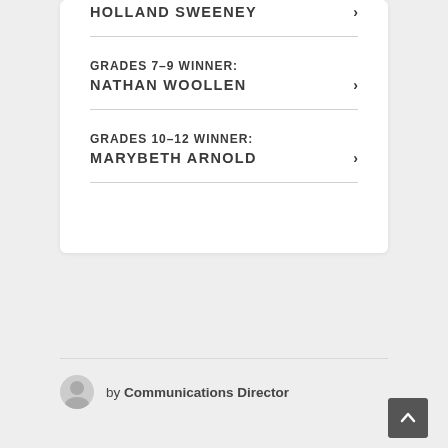HOLLAND SWEENEY >
GRADES 7-9 WINNER: NATHAN WOOLLEN >
GRADES 10-12 WINNER: MARYBETH ARNOLD >
by Communications Director